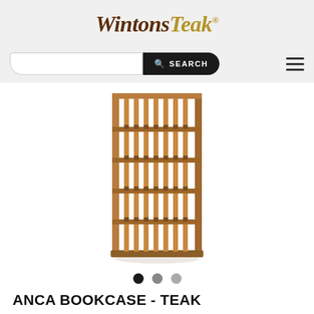Wintons Teak
[Figure (photo): A tall teak wood bookcase with slatted vertical supports and five shelves, product photo on white background]
ANCA BOOKCASE - TEAK